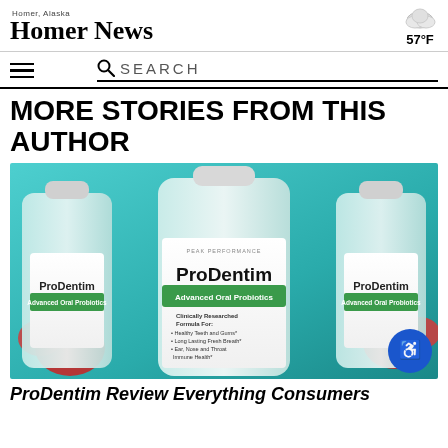Homer News — Homer, Alaska — 57°F
MORE STORIES FROM THIS AUTHOR
[Figure (photo): Three bottles of ProDentim Advanced Oral Probiotics supplement against a teal background with strawberries]
ProDentim Review Everything Consumers